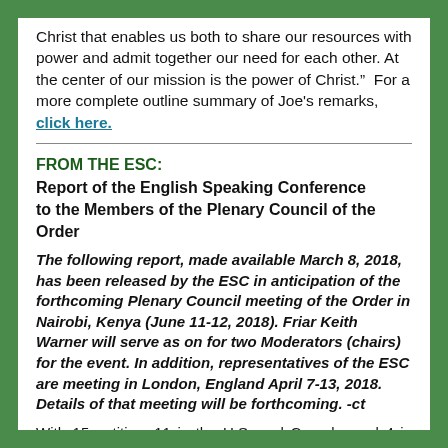Christ that enables us both to share our resources with power and admit together our need for each other. At the center of our mission is the power of Christ."  For a more complete outline summary of Joe's remarks, click here.
FROM THE ESC:
Report of the English Speaking Conference to the Members of the Plenary Council of the Order
The following report, made available March 8, 2018, has been released by the ESC in anticipation of the forthcoming Plenary Council meeting of the Order in Nairobi, Kenya (June 11-12, 2018). Friar Keith Warner will serve as on for two Moderators (chairs) for the event. In addition, representatives of the ESC are meeting in London, England April 7-13, 2018. Details of that meeting will be forthcoming. -ct
With 15 entities, 11 in the U.S. and Canada, and 4 in Europe (Ireland, Lithuania, Malta & the U.K.), the ESC is the only conference organized by language and not geography. This report speaks of broad trends in the 6 ESC countries, noting distinct realities in some of them.